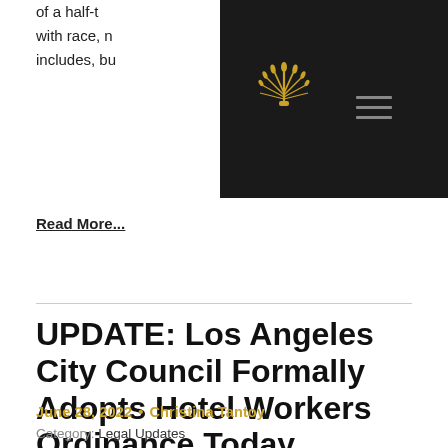of a half- ... associated with race, n ... lture, and includes, bu ...
[Figure (logo): Dark square logo box with gold sunburst/wheat sheaf icon on dark background]
Read More...
UPDATE: Los Angeles City Council Formally Adopts Hotel Workers Ordinance Today
June 28, 2022 • Christina Tantoy
Category: Legal Updates
Earlier today, the Los Angeles City Council voted to